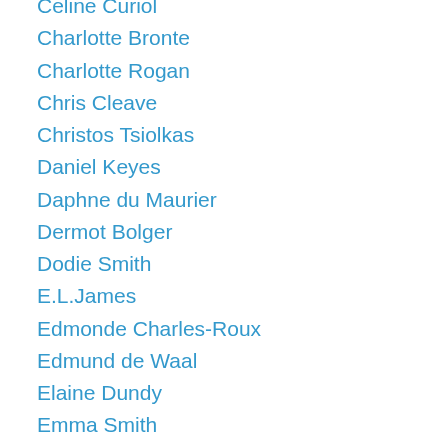Celine Curiol
Charlotte Bronte
Charlotte Rogan
Chris Cleave
Christos Tsiolkas
Daniel Keyes
Daphne du Maurier
Dermot Bolger
Dodie Smith
E.L.James
Edmonde Charles-Roux
Edmund de Waal
Elaine Dundy
Emma Smith
Erin Morgenstern
Félix Fénéon
Frances Hodgson Burnett
Franz Kafka
Fredrich Christian Delius
Grace Metalious